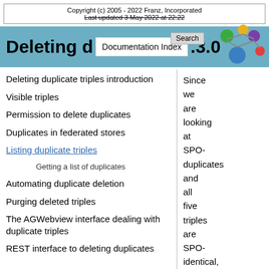Copyright (c) 2005 - 2022 Franz, Incorporated
Last updated 3 May 2022 at 22:22
Deleting d... .3.0...
Deleting duplicate triples introduction
Visible triples
Permission to delete duplicates
Duplicates in federated stores
Listing duplicate triples
Getting a list of duplicates
Automating duplicate deletion
Purging deleted triples
The AGWebview interface dealing with duplicate triples
REST interface to deleting duplicates
Since we are looking at SPO-duplicates and all five triples are SPO-identical,